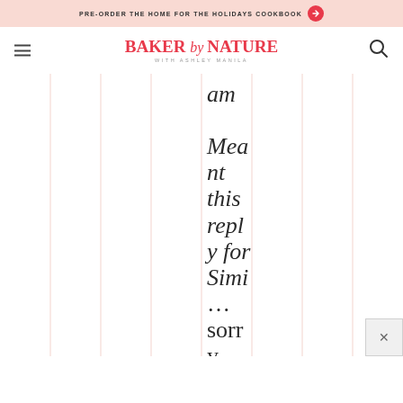PRE-ORDER THE HOME FOR THE HOLIDAYS COOKBOOK →
[Figure (logo): Baker by Nature with Ashley Manila logo in red/coral script and serif font]
am

Meant this reply for Simi
...
sorry.